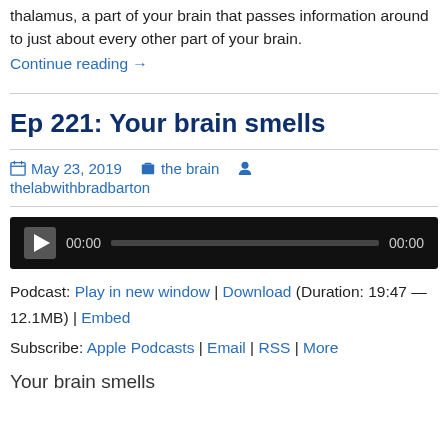thalamus, a part of your brain that passes information around to just about every other part of your brain.
Continue reading →
Ep 221: Your brain smells
May 23, 2019   the brain   thelabwithbradbarton
[Figure (other): Audio player with play button, time display 00:00, progress bar, and end time 00:00 on dark background]
Podcast: Play in new window | Download (Duration: 19:47 — 12.1MB) | Embed
Subscribe: Apple Podcasts | Email | RSS | More
Your brain smells